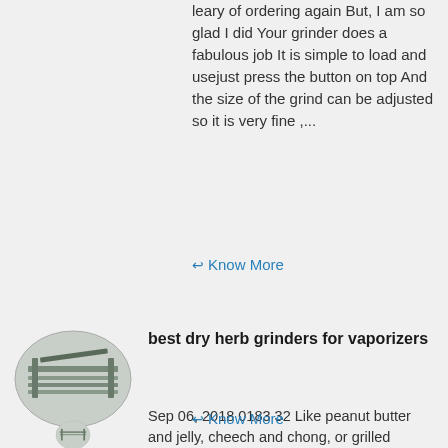leary of ordering again But, I am so glad I did Your grinder does a fabulous job It is simple to load and usejust press the button on top And the size of the grind can be adjusted so it is very fine ,...
↩ Know More
[Figure (photo): Oval thumbnail photo of industrial conveyor or racking structure in a facility]
best dry herb grinders for vaporizers
Sep 06, 2018 0183 32 Like peanut butter and jelly, cheech and chong, or grilled cheese and tomato soup,vaporizers and grinders go hand in hand The number one accessory I can recommend with the purchase of a vaporizer is a grinder A grinder can easily break down your dry herbs into a much more consistent texture and ....
↩ Know More
[Figure (photo): Partial oval thumbnail photo of similar industrial equipment, cropped at bottom of page]